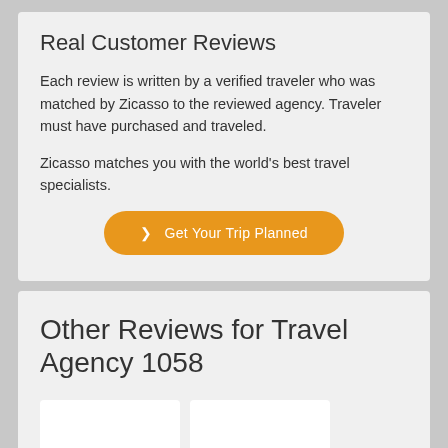Real Customer Reviews
Each review is written by a verified traveler who was matched by Zicasso to the reviewed agency. Traveler must have purchased and traveled.
Zicasso matches you with the world's best travel specialists.
❯ Get Your Trip Planned
Other Reviews for Travel Agency 1058